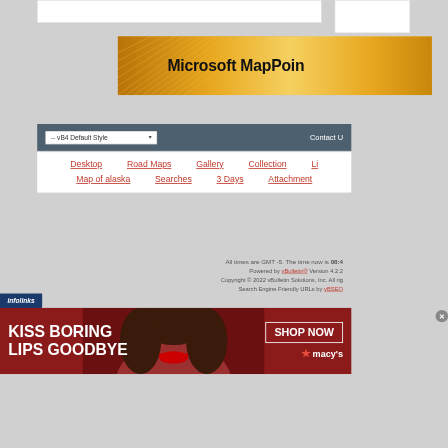[Figure (screenshot): Microsoft MapPoint banner advertisement with golden gradient background]
-- vB4 Default Style
Contact U
Desktop   Road Maps   Gallery   Collection   Li
Map of alaska   Searches   3 Days   Attachment
All times are GMT -5. The time now is 08:4
Powered by vBulletin® Version 4.2.2 Copyright © 2022 vBulletin Solutions, Inc. All ri Search Engine Friendly URLs by vBSEO
[Figure (photo): Woman with red lipstick advertisement for Macy's - KISS BORING LIPS GOODBYE, SHOP NOW]
infolinks